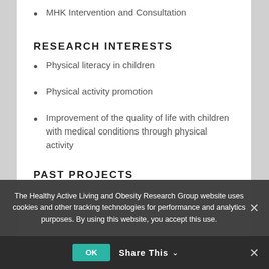MHK Intervention and Consultation
RESEARCH INTERESTS
Physical literacy in children
Physical activity promotion
Improvement of the quality of life with children with medical conditions through physical activity
PAST PROJECTS
Physical Literacy in Children with a Medical Condition: Shifting Our Focus from Survival to Optimal Health
The Healthy Active Living and Obesity Research Group website uses cookies and other tracking technologies for performance and analytics purposes. By using this website, you accept this use.
Share This ∨